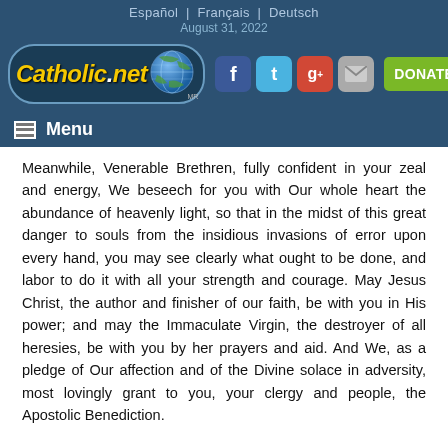Español | Français | Deutsch
August 31, 2022
[Figure (logo): Catholic.net logo with globe icon, social media icons (Facebook, Twitter, Google+, Mail), and DONATE NOW button on dark blue background]
Menu
Meanwhile, Venerable Brethren, fully confident in your zeal and energy, We beseech for you with Our whole heart the abundance of heavenly light, so that in the midst of this great danger to souls from the insidious invasions of error upon every hand, you may see clearly what ought to be done, and labor to do it with all your strength and courage. May Jesus Christ, the author and finisher of our faith, be with you in His power; and may the Immaculate Virgin, the destroyer of all heresies, be with you by her prayers and aid. And We, as a pledge of Our affection and of the Divine solace in adversity, most lovingly grant to you, your clergy and people, the Apostolic Benediction.